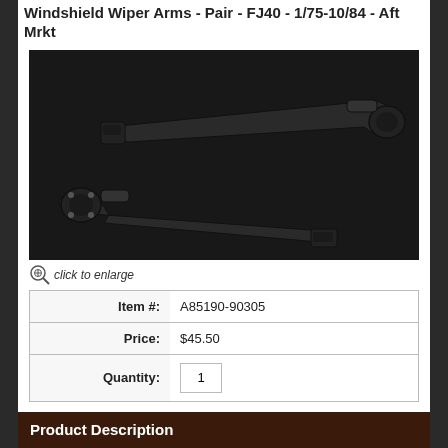Windshield Wiper Arms - Pair - FJ40 - 1/75-10/84 - Aft Mrkt
[Figure (photo): Two black windshield wiper arms shown side by side against a dark background. The top arm faces right, the bottom arm faces left.]
click to enlarge
| Item #: | A85190-90305 |
| Price: | $45.50 |
| Quantity: | 1 |
+ ADD TO CART
Tweet
+ Share
Product Description